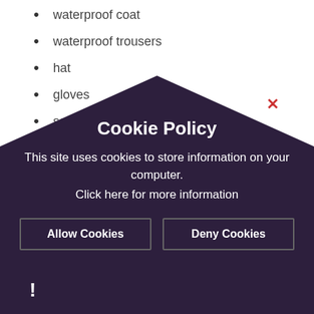waterproof coat
waterproof trousers
hat
gloves
scarf
Girls with shoulder length or longer hair should ensure it is tied up for safety when using the different tools and fire lightening equipment. If children do not bring in the correct clothing, they may not be able to attend. On a day that forest school takes place, children will need to come into school with their forest school kit and will come home from school in their forest school kit with their school uniform in their bag.
In preparation for forest school children will require at least [X] sessions [Y] each week. The children leave the school at 12.30 and return at 3.30pm. If you are able to support the children at forest school, then please
[Figure (screenshot): Cookie Policy overlay popup with dark purple background shaped like a pentagon/arrow pointing up. Contains title 'Cookie Policy', description text 'This site uses cookies to store information on your computer. Click here for more information', and two buttons: 'Allow Cookies' and 'Deny Cookies'. A red X close button appears at top right of the shape. An exclamation mark icon appears at bottom left.]